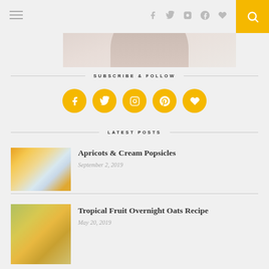Navigation and social icons header bar with hamburger menu, social icons (f, twitter, instagram, pinterest, heart), and search button
[Figure (photo): Partial view of a person's head/shoulder against a light background]
SUBSCRIBE & FOLLOW
[Figure (infographic): Five yellow circular social media icons: Facebook, Twitter, Instagram, Pinterest, Heart/Bloglovin]
LATEST POSTS
[Figure (photo): Photo of stacked orange/cream colored popsicles on sticks]
Apricots & Cream Popsicles
September 2, 2019
[Figure (photo): Photo of tropical fruit overnight oats in white bowls]
Tropical Fruit Overnight Oats Recipe
May 20, 2019